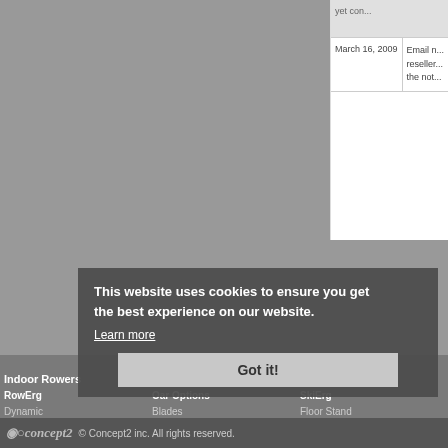|  | Date | Description |
| --- | --- | --- |
|  |  | yet con... |
|  | March 16, 2009 | Email n...
reseller...
the not... |
Indoor Rowers
Oars
SkiErg
RowErg
Oar Options
SkiErg
Dynamic
Blades
Floor Stand
Monitors
Custom Colors
Monitors
What's Best For Me?
Related Products
Training
Accessories
Support
Motivation
Training
Testing
SkiErg World Sprints
Records
Ordering
Testimonials
Technique
This website uses cookies to ensure you get the best experience on our website.
Learn more
Got it!
© Concept2 inc. All rights reserved.